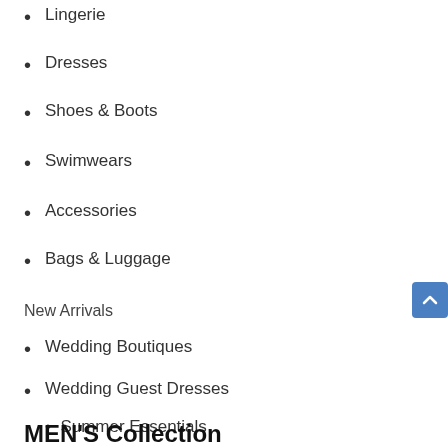Lingerie
Dresses
Shoes & Boots
Swimwears
Accessories
Bags & Luggage
New Arrivals
Wedding Boutiques
Wedding Guest Dresses
Summer Essentials
MEN'S Collection